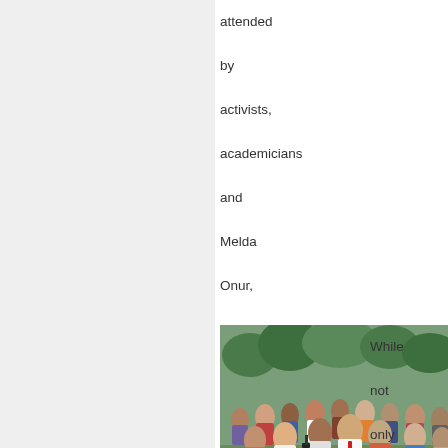attended by activists, academicians and Melda Onur, the opposition deputy of the area (photo 4).
[Figure (photo): A large crowd of people gathered outdoors among trees, appearing to be at a community or protest event.]
Os moradores de Toklu Dede também
While not only housing rights but all human